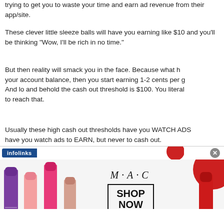trying to get you to waste your time and earn ad revenue from their app/site.
These clever little sleeze balls will have you earning like $10 and you’ll be thinking “Wow, I’ll be rich in no time.”
But then reality will smack you in the face. Because what happens is your account balance, then you start earning 1-2 cents per game. And lo and behold the cash out threshold is $100. You literally to reach that.
Usually these high cash out thresholds have you WATCH ADS, have you watch ads to EARN, but never to cash out.
[Figure (screenshot): Infolinks advertisement banner showing MAC cosmetics ad with lipstick products and SHOP NOW button]